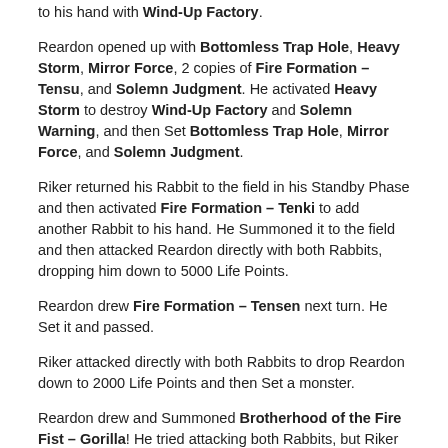to his hand with Wind-Up Factory.
Reardon opened up with Bottomless Trap Hole, Heavy Storm, Mirror Force, 2 copies of Fire Formation – Tensu, and Solemn Judgment. He activated Heavy Storm to destroy Wind-Up Factory and Solemn Warning, and then Set Bottomless Trap Hole, Mirror Force, and Solemn Judgment.
Riker returned his Rabbit to the field in his Standby Phase and then activated Fire Formation – Tenki to add another Rabbit to his hand. He Summoned it to the field and then attacked Reardon directly with both Rabbits, dropping him down to 5000 Life Points.
Reardon drew Fire Formation – Tensen next turn. He Set it and passed.
Riker attacked directly with both Rabbits to drop Reardon down to 2000 Life Points and then Set a monster.
Reardon drew and Summoned Brotherhood of the Fire Fist – Gorilla! He tried attacking both Rabbits, but Riker banished them. Reardon attacked Riker's face-down Sangan to destroy it instead, and used his Gorilla's effect to Set Fire Formation – Tenki from his Deck. Riker added Wind-Up Magician to his hand with Sangan's effect. Reardon activated Tenki to add Brotherhood of the Fire Fist - Bear to his hand in Main Phase 2 and then used his Gorilla's effect to launch his own Fire Formation – Tenki and destroy Riker's Tenki.
Riker returned both Rabbits to the field next turn and then combined them to Summon Wind-Up Carrier Zenmaity; but Reardon flipped Bottomless Trap